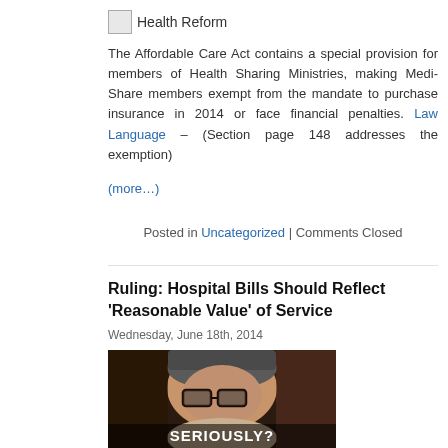[Figure (logo): Health Reform logo/icon with text label]
The Affordable Care Act contains a special provision for members of Health Sharing Ministries, making Medi-Share members exempt from the mandate to purchase insurance in 2014 or face financial penalties. Law Language – (Section page 148 addresses the exemption)
(more…)
Posted in Uncategorized | Comments Closed
Ruling: Hospital Bills Should Reflect 'Reasonable Value' of Service
Wednesday, June 18th, 2014
[Figure (photo): Photo of an older man with glasses wearing a tan shirt, looking skeptical. White bold text at bottom reads 'SERIOUSLY?']